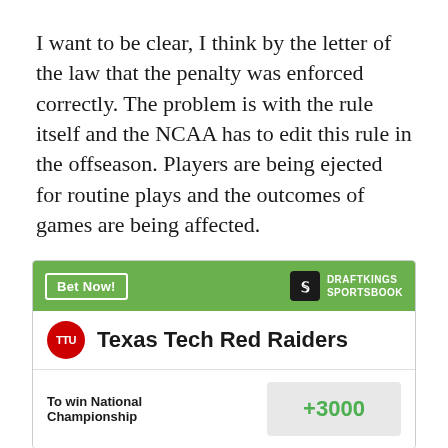I want to be clear, I think by the letter of the law that the penalty was enforced correctly. The problem is with the rule itself and the NCAA has to edit this rule in the offseason. Players are being ejected for routine plays and the outcomes of games are being affected.
[Figure (other): DraftKings Sportsbook betting widget showing Texas Tech Red Raiders with odds of +3000 to win National Championship]